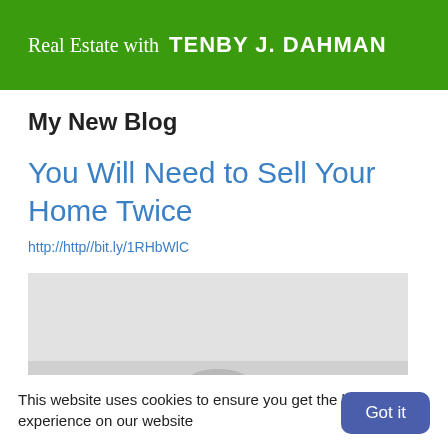Real Estate with TENBY J. DAHMAN
My New Blog
You Will Need to Sell Your Home Twice
http://http//bit.ly/1RHbWlC
[Figure (photo): Partially visible house/real estate photo placeholder (gray background visible)]
This website uses cookies to ensure you get the best experience on our website
Got it